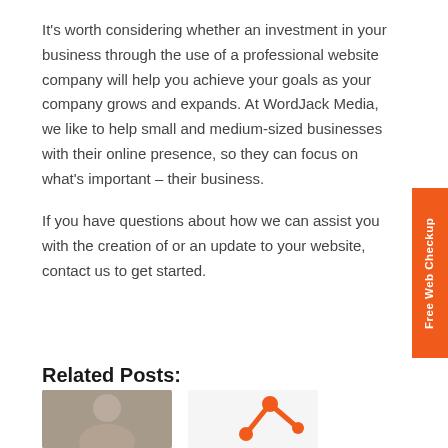It's worth considering whether an investment in your business through the use of a professional website company will help you achieve your goals as your company grows and expands. At WordJack Media, we like to help small and medium-sized businesses with their online presence, so they can focus on what's important – their business.
If you have questions about how we can assist you with the creation of or an update to your website, contact us to get started.
[Figure (other): Orange vertical side button reading 'Free Web Checkup']
Related Posts:
[Figure (photo): Photo of a smiling woman outdoors]
[Figure (illustration): Orange abstract icon/logo resembling a bird or arrow shape]